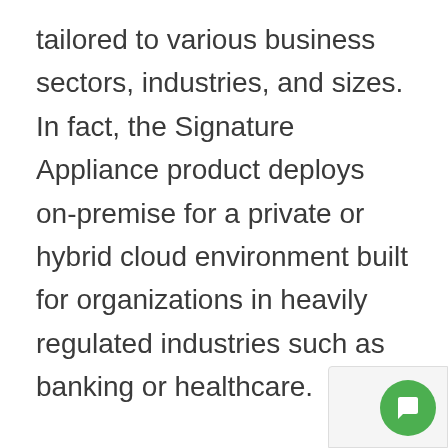tailored to various business sectors, industries, and sizes. In fact, the Signature Appliance product deploys on-premise for a private or hybrid cloud environment built for organizations in heavily regulated industries such as banking or healthcare.
Aside from Signature Appliance, DocuSign offers four different editions to fit your business needs. Each edition has signature limits, so if you process a high volume of documents, you'll need to upgrade to one of the more advanced versions. All editions include audit trails, ba templates, custom fields, workflows, and a